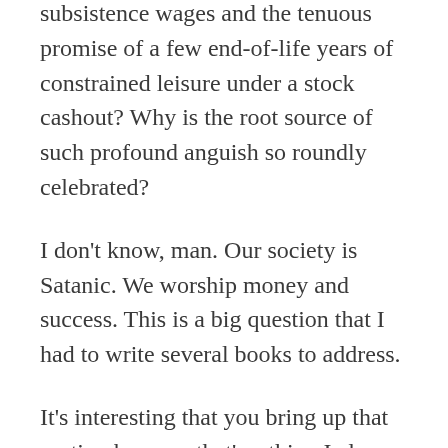more than half our waking hours for subsistence wages and the tenuous promise of a few end-of-life years of constrained leisure under a stock cashout? Why is the root source of such profound anguish so roundly celebrated?
I don't know, man. Our society is Satanic. We worship money and success. This is a big question that I had to write several books to address.
It's interesting that you bring up that section because that's a thing I always wanted to cut down, or at least make into more naturalistic dialogue. But that on-the-nose YOU CAN'T HANDLE THE TRUTH movie